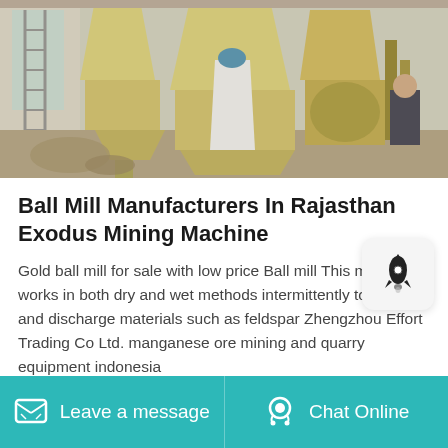[Figure (photo): Industrial ball mill machines and equipment inside a factory/warehouse setting, with yellow conical hoppers, metal machinery, ladders, and a worker visible in the background.]
Ball Mill Manufacturers In Rajasthan Exodus Mining Machine
Gold ball mill for sale with low price Ball mill This machine works in both dry and wet methods intermittently to mill mix and discharge materials such as feldspar Zhengzhou Effort Trading Co Ltd. manganese ore mining and quarry equipment indonesia
Leave a message   Chat Online